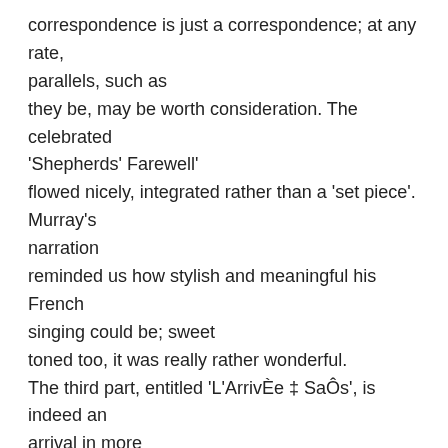correspondence is just a correspondence; at any rate, parallels, such as they be, may be worth consideration. The celebrated 'Shepherds' Farewell' flowed nicely, integrated rather than a 'set piece'. Murray's narration reminded us how stylish and meaningful his French singing could be; sweet toned too, it was really rather wonderful.

The third part, entitled 'L'ArrivÈe ‡ SaÔs', is indeed an arrival in more than a strictly narrative sense. The Holy Family, following malevolent calls, as May would have it, to GO HOME – 'ArriËre, vils HÈbreux,' shout the Roman and Egyptian Tories de leurs jours – nevertheless find